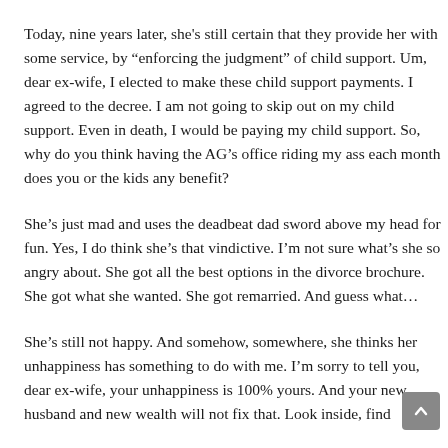Today, nine years later, she's still certain that they provide her with some service, by “enforcing the judgment” of child support. Um, dear ex-wife, I elected to make these child support payments. I agreed to the decree. I am not going to skip out on my child support. Even in death, I would be paying my child support. So, why do you think having the AG’s office riding my ass each month does you or the kids any benefit?
She’s just mad and uses the deadbeat dad sword above my head for fun. Yes, I do think she’s that vindictive. I’m not sure what’s she so angry about. She got all the best options in the divorce brochure. She got what she wanted. She got remarried. And guess what…
She’s still not happy. And somehow, somewhere, she thinks her unhappiness has something to do with me. I’m sorry to tell you, dear ex-wife, your unhappiness is 100% yours. And your new husband and new wealth will not fix that. Look inside, find